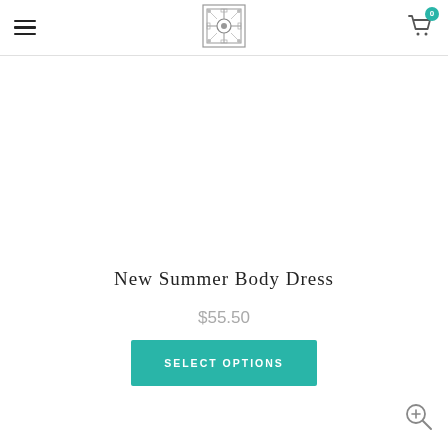Navigation header with hamburger menu, decorative logo, and cart icon with badge 0
New Summer Body Dress
$55.50
SELECT OPTIONS
[Figure (illustration): Zoom/magnify icon at bottom right corner]